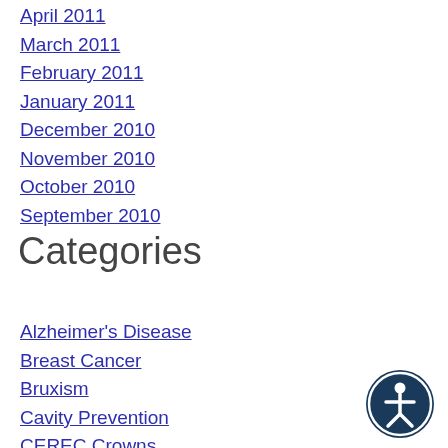April 2011
March 2011
February 2011
January 2011
December 2010
November 2010
October 2010
September 2010
Categories
Alzheimer's Disease
Breast Cancer
Bruxism
Cavity Prevention
CEREC Crowns
Children's Dentistry